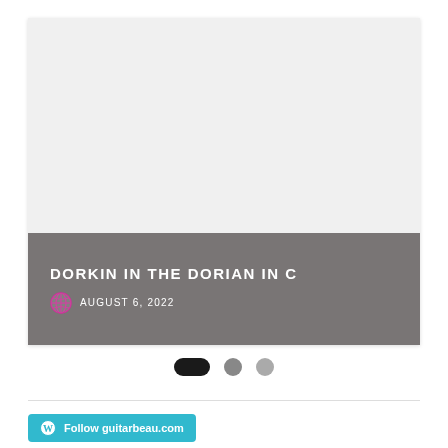[Figure (photo): Light gray placeholder image area at top of card]
DORKIN IN THE DORIAN IN C
AUGUST 6, 2022
[Figure (other): Pagination dots: one active pill and two inactive circles]
Follow guitarbeau.com